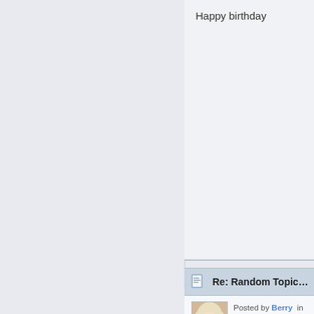Happy birthday
Re: Random Topic V10
Posted by Berry in R… years ago Board: All That's Left
I just got sad when I loo… just stopped. 🙂
Re: Random Topic V10